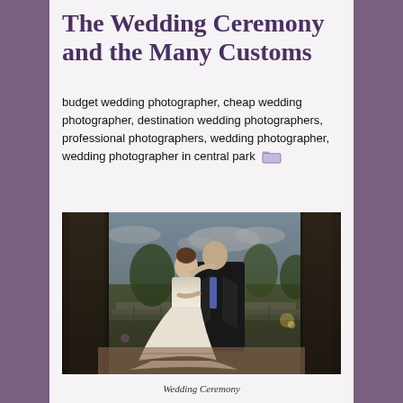The Wedding Ceremony and the Many Customs
budget wedding photographer, cheap wedding photographer, destination wedding photographers, professional photographers, wedding photographer, wedding photographer in central park
[Figure (photo): Wedding couple embracing between columns outdoors, bride in white gown and groom in dark suit, with garden/terrace background]
Wedding Ceremony
Your wedding is one of the most important events in your life and the